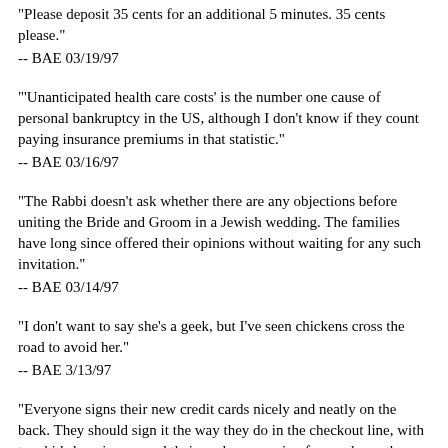"Please deposit 35 cents for an additional 5 minutes. 35 cents please."
-- BAE 03/19/97
"'Unanticipated health care costs' is the number one cause of personal bankruptcy in the US, although I don't know if they count paying insurance premiums in that statistic."
-- BAE 03/16/97
"The Rabbi doesn't ask whether there are any objections before uniting the Bride and Groom in a Jewish wedding. The families have long since offered their opinions without waiting for any such invitation."
-- BAE 03/14/97
"I don't want to say she's a geek, but I've seen chickens cross the road to avoid her."
-- BAE 3/13/97
"Everyone signs their new credit cards nicely and neatly on the back. They should sign it the way they do in the checkout line, with two kids hanging around their necks screaming for candy, so the signatures will match when they use it."
-- BAE 03/10/97
"It also would I say for example la...? They didn't even mean to fall...